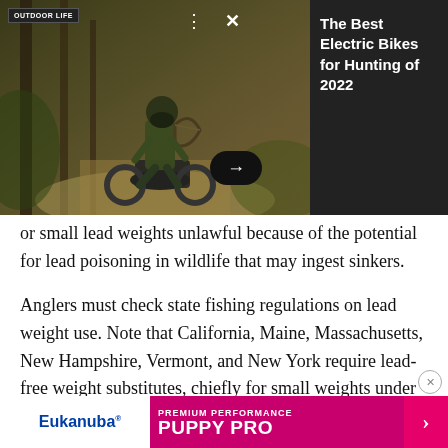[Figure (photo): Advertisement overlay showing a hunter on a dirt bike in camouflage gear on a forest trail, with Outdoor Life logo, close/menu icons, and a right-arrow button. Right panel shows dark background with white text: 'The Best Electric Bikes for Hunting of 2022']
or small lead weights unlawful because of the potential for lead poisoning in wildlife that may ingest sinkers.
Anglers must check state fishing regulations on lead weight use. Note that California, Maine, Massachusetts, New Hampshire, Vermont, and New York require lead-free weight substitutes, chiefly for small weights under one ounce, or lead weights that may b e.
[Figure (advertisement): Eukanuba Premium Performance Puppy Pro banner advertisement at the bottom of the page]